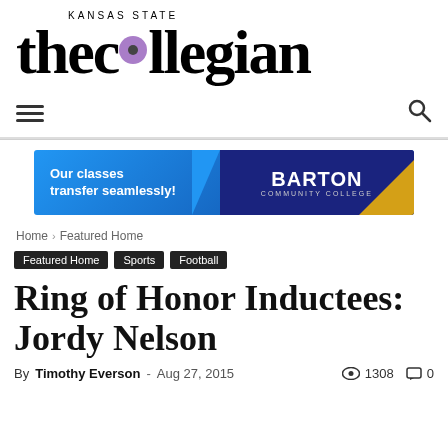[Figure (logo): Kansas State thecollegian newspaper logo with purple eye replacing letter 'o']
[Figure (photo): Advertisement banner for Barton Community College. Blue background with text 'Our classes transfer seamlessly!' and BARTON COMMUNITY COLLEGE logo with gold accent]
Home › Featured Home
Featured Home   Sports   Football
Ring of Honor Inductees: Jordy Nelson
By Timothy Everson - Aug 27, 2015   1308   0